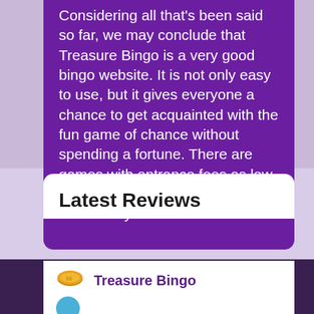Considering all that's been said so far, we may conclude that Treasure Bingo is a very good bingo website. It is not only easy to use, but it gives everyone a chance to get acquainted with the fun game of chance without spending a fortune. There are games with entrance fees as low as 1p, and some even permit users to try out their luck for free.
Latest Reviews
Treasure Bingo